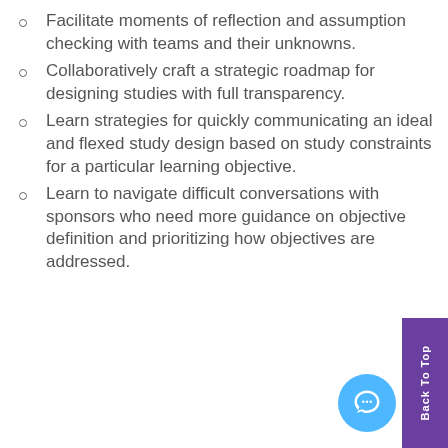Facilitate moments of reflection and assumption checking with teams and their unknowns.
Collaboratively craft a strategic roadmap for designing studies with full transparency.
Learn strategies for quickly communicating an ideal and flexed study design based on study constraints for a particular learning objective.
Learn to navigate difficult conversations with sponsors who need more guidance on objective definition and prioritizing how objectives are addressed.